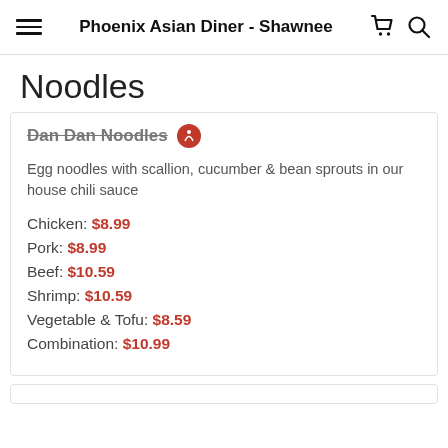Phoenix Asian Diner - Shawnee
Noodles
Dan Dan Noodles
Egg noodles with scallion, cucumber & bean sprouts in our house chili sauce
Chicken: $8.99
Pork: $8.99
Beef: $10.59
Shrimp: $10.59
Vegetable & Tofu: $8.59
Combination: $10.99